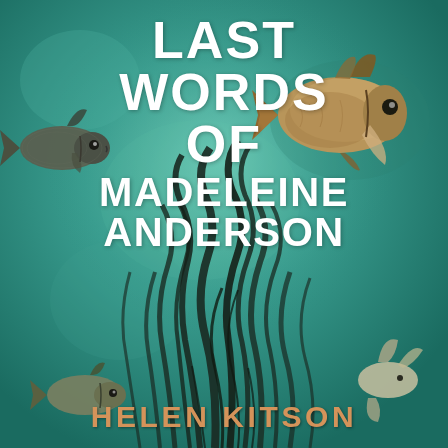[Figure (illustration): Book cover illustration: teal/green underwater scene with dark seaweed rising from the bottom, two illustrated fish swimming in the upper portion (one dark grey-brown fish on the left, one larger tan fish on the right), and additional fish partially visible at the lower edges. The background is a mottled teal-green suggesting an underwater environment.]
LAST WORDS OF MADELEINE ANDERSON
HELEN KITSON